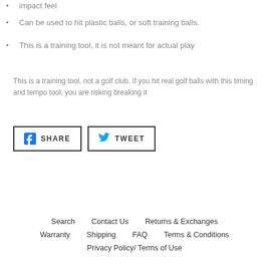impact feel
Can be used to hit plastic balls, or soft training balls.
This is a training tool, it is not meant for actual play
This is a training tool, not a golf club. If you hit real golf balls with this timing and tempo tool, you are risking breaking it
[Figure (other): Share and Tweet social media buttons]
Search   Contact Us   Returns & Exchanges   Warranty   Shipping   FAQ   Terms & Conditions   Privacy Policy/ Terms of Use